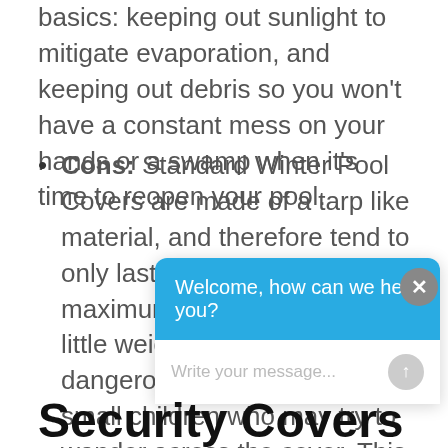basics: keeping out sunlight to mitigate evaporation, and keeping out debris so you won't have a constant mess on your hands or a swamp when it's time to reopen your pool.
Cons: Standard Winter Pool Covers are made of a tarp like material, and therefore tend to only last for about 3 seasons maximum and can hold very little weight which can be dangerous if you have pets or small children who may try to wander across the cover. This type of cover is also pro... pu... po...
[Figure (screenshot): Chat widget overlay with cyan/blue header reading 'Welcome, how can we help you?' and a message input field below reading 'Write your message...' with a send button. A close (X) button appears in the top right of the overlay.]
Security Covers